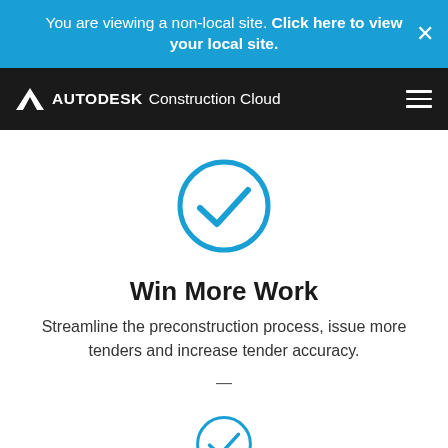You are viewing a non-local site. Click here to view your local site.
[Figure (logo): Autodesk Construction Cloud logo on black navigation bar with hamburger menu]
[Figure (illustration): Blue circle with white checkmark icon (large)]
Win More Work
Streamline the preconstruction process, issue more tenders and increase tender accuracy.
[Figure (illustration): Blue circle with white checkmark icon (partial, bottom of page)]